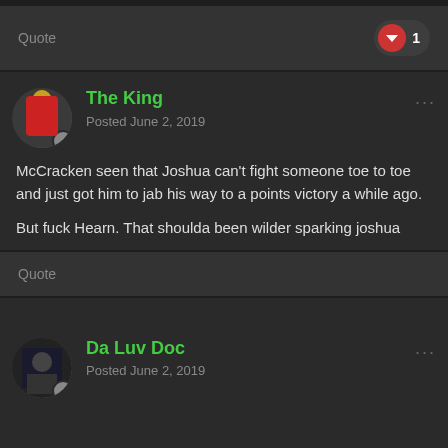Quote
The King
Posted June 2, 2019
McCracken seen that Joshua can't fight someone toe to toe and just got him to jab his way to a points victory a while ago.

But fuck Hearn. That shoulda been wilder sparking joshua
Quote
Da Luv Doc
Posted June 2, 2019